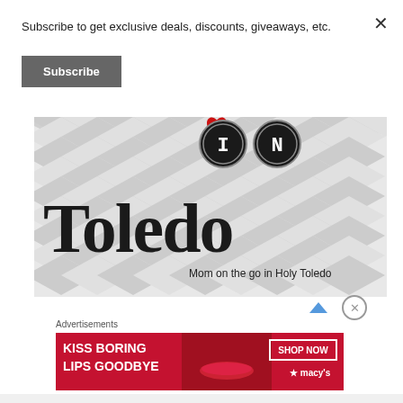Subscribe to get exclusive deals, discounts, giveaways, etc.
Subscribe
[Figure (logo): In Toledo blog logo with chevron background pattern, large text 'Toledo' with 'I' and 'N' in typewriter circles, and tagline 'Mom on the go in Holy Toledo']
Advertisements
[Figure (photo): Macy's advertisement banner: 'KISS BORING LIPS GOODBYE' with SHOP NOW button and macy's star logo, red background with woman's face showing red lips]